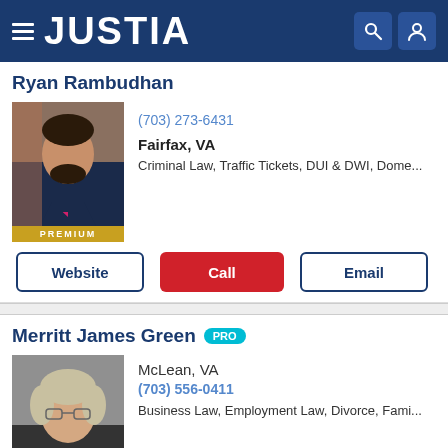JUSTIA
Ryan Rambudhan
(703) 273-6431
Fairfax, VA
Criminal Law, Traffic Tickets, DUI & DWI, Dome...
Merritt James Green PRO
McLean, VA
(703) 556-0411
Business Law, Employment Law, Divorce, Fami...